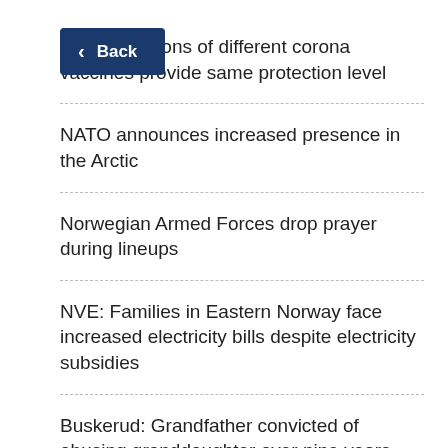Back
…st combinations of different corona vaccines provide same protection level
NATO announces increased presence in the Arctic
Norwegian Armed Forces drop prayer during lineups
NVE: Families in Eastern Norway face increased electricity bills despite electricity subsidies
Buskerud: Grandfather convicted of abusing granddaughter over nine years, sentenced to eight years in prison